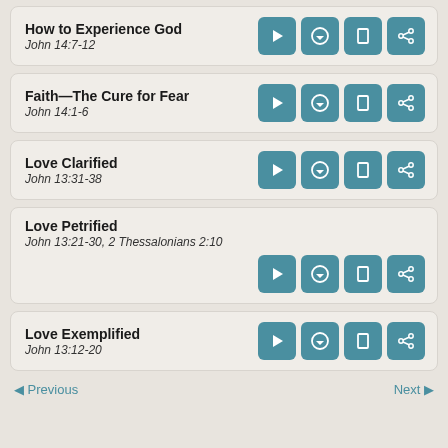How to Experience God
John 14:7-12
Faith—The Cure for Fear
John 14:1-6
Love Clarified
John 13:31-38
Love Petrified
John 13:21-30, 2 Thessalonians 2:10
Love Exemplified
John 13:12-20
◄ Previous
Next ►